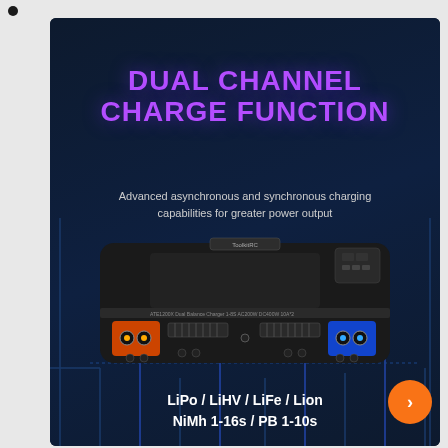[Figure (photo): Product marketing page for a dual channel battery charger showing the charger device on a dark blue background with circuit line decorations, purple gradient title text, white subtitle, and battery type labels at bottom]
DUAL CHANNEL CHARGE FUNCTION
Advanced asynchronous and synchronous charging capabilities for greater power output
LiPo / LiHV / LiFe / Lion NiMh 1-16s / PB 1-10s